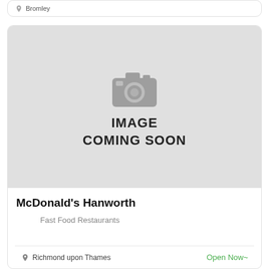Bromley
[Figure (illustration): Placeholder image with camera icon and text IMAGE COMING SOON on grey background]
McDonald's Hanworth
Fast Food Restaurants
Richmond upon Thames
Open Now~